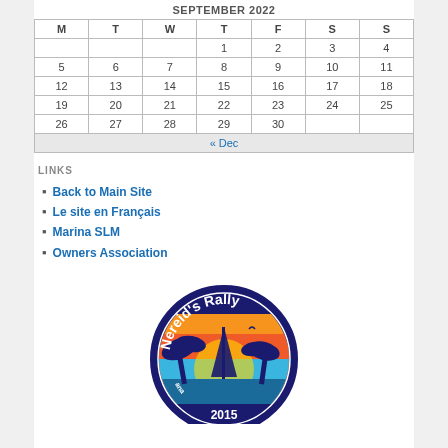SEPTEMBER 2022
| M | T | W | T | F | S | S |
| --- | --- | --- | --- | --- | --- | --- |
|  |  |  | 1 | 2 | 3 | 4 |
| 5 | 6 | 7 | 8 | 9 | 10 | 11 |
| 12 | 13 | 14 | 15 | 16 | 17 | 18 |
| 19 | 20 | 21 | 22 | 23 | 24 | 25 |
| 26 | 27 | 28 | 29 | 30 |  |  |
| « Dec |  |  |  |  |  |  |
LINKS
Back to Main Site
Le site en Français
Marina SLM
Owners Association
[Figure (logo): Nereid's Rally 2015 circular logo with sailing boat, palm trees and sunset background]